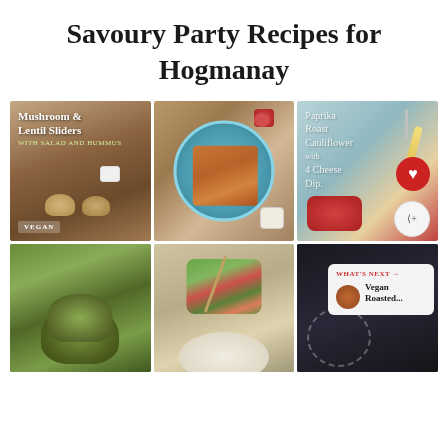Savoury Party Recipes for Hogmanay
[Figure (photo): Six food photos in a 3x2 grid: Mushroom & Lentil Sliders with salad and hummus (vegan), Sweet potato fries on a blue plate, Paprika Roast Cauliflower with 4 Cheese Dip, veggie patties, salad plate, and dark background with 'What's Next: Vegan Roasted...' overlay]
WHAT'S NEXT → Vegan Roasted...